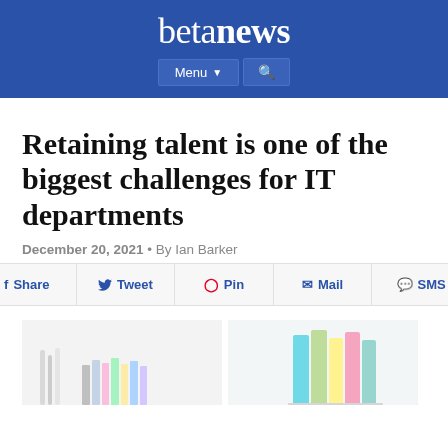betanews
Retaining talent is one of the biggest challenges for IT departments
December 20, 2021 • By Ian Barker
f Share
🐦 Tweet
@ Pin
✉ Mail
💬 SMS
[Figure (photo): Two photos: left shows colorful books/stationery items; right shows colorful binders/folders stacked upright]